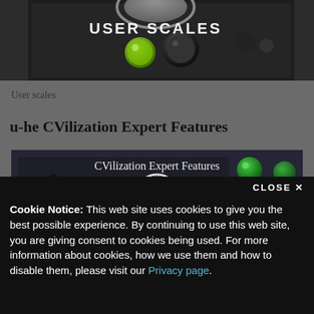[Figure (screenshot): Top portion of a synthesizer/audio equipment with knobs, showing text 'USER SCALES' overlaid in white capital letters on a dark background]
User scales
u-he CVilization Expert Features
[Figure (screenshot): Video thumbnail showing synthesizer knobs and cables with 'CVilization Expert Features' text overlay and a white play button circle in the center]
Cookie Notice: This web site uses cookies to give you the best possible experience. By continuing to use this web site, you are giving consent to cookies being used. For more information about cookies, how we use them and how to disable them, please visit our Privacy page.